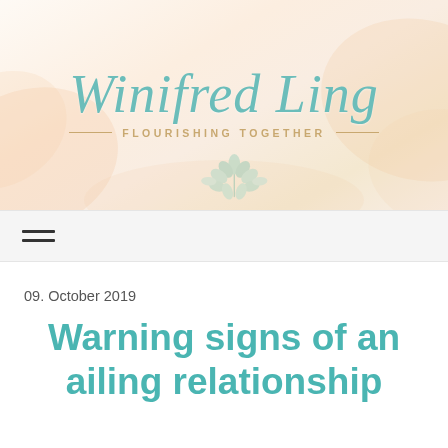[Figure (logo): Winifred Ling blog header logo with script font name and 'Flourishing Together' tagline, decorative floral watercolor background in peach and cream tones, teal/mint colored text]
☰ (hamburger menu icon)
09. October 2019
Warning signs of an ailing relationship